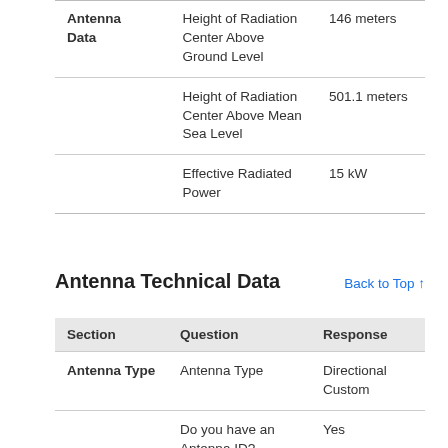| Section | Question | Response |
| --- | --- | --- |
| Antenna Data | Height of Radiation Center Above Ground Level | 146 meters |
|  | Height of Radiation Center Above Mean Sea Level | 501.1 meters |
|  | Effective Radiated Power | 15 kW |
Antenna Technical Data
Back to Top ↑
| Section | Question | Response |
| --- | --- | --- |
| Antenna Type | Antenna Type | Directional Custom |
|  | Do you have an Antenna ID? | Yes |